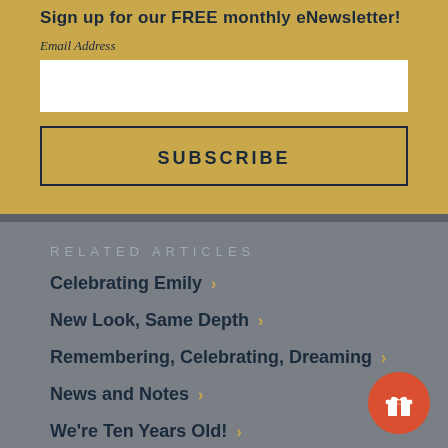Sign up for our FREE monthly eNewsletter!
Email Address
RELATED ARTICLES
Celebrating Emily ›
New Look, Same Depth ›
Remembering, Celebrating, Dreaming ›
News and Notes ›
We're Ten Years Old! ›